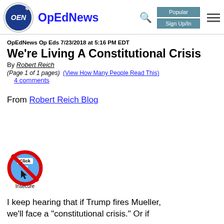OpEdNews
OpEdNews Op Eds 7/23/2018 at 5:16 PM EDT
We're Living A Constitutional Crisis
By Robert Reich
(Page 1 of 1 pages)  (View How Many People Read This)
4 comments
From Robert Reich Blog
[Figure (other): Insecure content warning icon - a red circle-slash over a blue circle with 'Click Me' text, labeled 'Insecure' below]
I keep hearing that if Trump fires Mueller, we'll face a "constitutional crisis." Or if